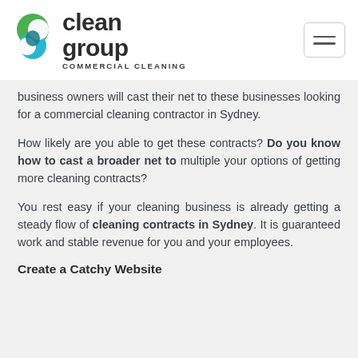Clean Group Commercial Cleaning logo and navigation
business owners will cast their net to these businesses looking for a commercial cleaning contractor in Sydney.
How likely are you able to get these contracts? Do you know how to cast a broader net to multiple your options of getting more cleaning contracts?
You rest easy if your cleaning business is already getting a steady flow of cleaning contracts in Sydney. It is guaranteed work and stable revenue for you and your employees.
Create a Catchy Website